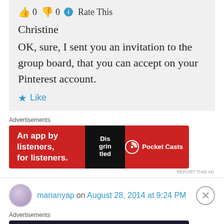👍 0 👎 0 ℹ Rate This
Christine
OK, sure, I sent you an invitation to the group board, that you can accept on your Pinterest account.
★ Like
Advertisements
[Figure (other): Red advertisement banner for Pocket Casts: 'An app by listeners, for listeners.' with phone graphic and Pocket Casts logo]
REPORT THIS AD
marianyap on August 28, 2014 at 9:24 PM
Advertisements
[Figure (other): Dark advertisement banner: 'Launch your online course with WordPress' with Learn More button]